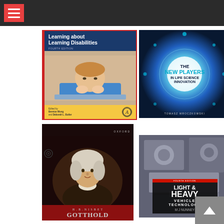[Figure (screenshot): Website navigation bar with hamburger menu icon on red background, dark gray bar across top]
[Figure (photo): Book cover: 'Learning about Learning Disabilities, Fourth Edition' edited by Bernice Wong and Deborah L. Butler. Academic Press. Blue top with white title, photo of young boy resting chin on arms on table, yellow bottom section.]
[Figure (photo): Book cover: 'The New Players in Life Science Innovation' by Tomasz Mroczkowski. Circular tech design on blue background.]
[Figure (photo): Book cover: Gotthold by H.B. Nisbet. Oxford University Press. Dark cover with portrait painting of young man in 18th century dress, red bottom band.]
[Figure (photo): Book cover: 'Light & Heavy Vehicle Technology, Fourth Edition' by M J Nunney. Dark cover showing engine components, title block with red and black styling.]